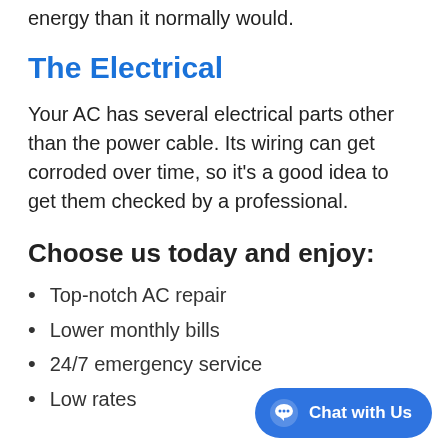energy than it normally would.
The Electrical
Your AC has several electrical parts other than the power cable. Its wiring can get corroded over time, so it's a good idea to get them checked by a professional.
Choose us today and enjoy:
Top-notch AC repair
Lower monthly bills
24/7 emergency service
Low rates
[Figure (other): Blue rounded chat button with speech bubble icon and text 'Chat with Us']